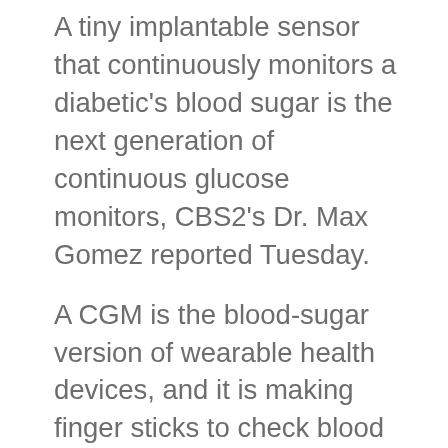A tiny implantable sensor that continuously monitors a diabetic’s blood sugar is the next generation of continuous glucose monitors, CBS2’s Dr. Max Gomez reported Tuesday.
A CGM is the blood-sugar version of wearable health devices, and it is making finger sticks to check blood sugar almost a thing of the past.
Most are wearable devices, but a new one isn’t worn. It’s implanted.
Wearable CGMs have revolutionized diabetes care, both for patients like professional dancer Katelyn Prominski and doctors who